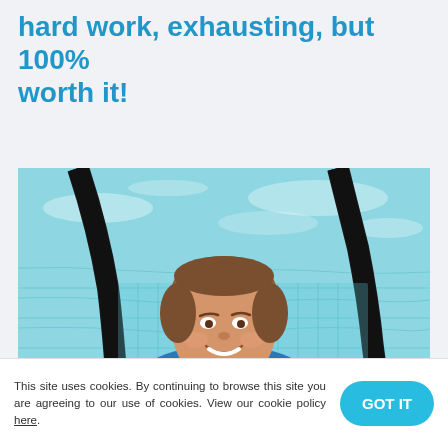hard work, exhausting, but 100% worth it!
[Figure (photo): Woman smiling in a swimming pool, viewed from above, with lane dividers and pool tiles visible in blue water]
This site uses cookies. By continuing to browse this site you are agreeing to our use of cookies. View our cookie policy here.